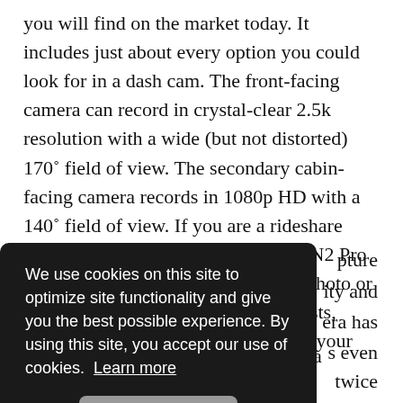you will find on the market today. It includes just about every option you could look for in a dash cam. The front-facing camera can record in crystal-clear 2.5k resolution with a wide (but not distorted) 170° field of view. The secondary cabin-facing camera records in 1080p HD with a 140° field of view. If you are a rideshare driver, the secondary camera on the N2 Pro can be an essential tool if you need photo or video proof of rough and rowdy guests, experience any unwanted damage in your vehicle, or can be a way to help
[Figure (screenshot): Cookie consent overlay (dark background) reading: 'We use cookies on this site to optimize site functionality and give you the best possible experience. By using this site, you accept our use of cookies. Learn more' with a 'Got it!' button.]
the price of some other single-camera models that can also